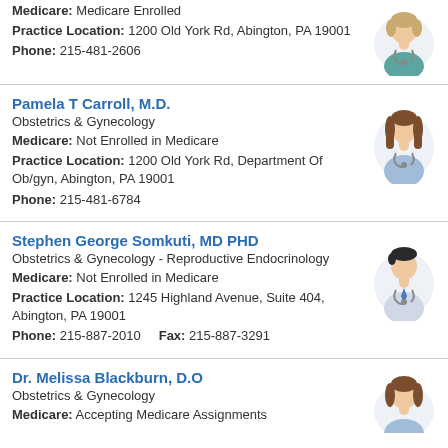Medicare: Medicare Enrolled
Practice Location: 1200 Old York Rd, Abington, PA 19001
Phone: 215-481-2606
Pamela T Carroll, M.D.
Obstetrics & Gynecology
Medicare: Not Enrolled in Medicare
Practice Location: 1200 Old York Rd, Department Of Ob/gyn, Abington, PA 19001
Phone: 215-481-6784
Stephen George Somkuti, MD PHD
Obstetrics & Gynecology - Reproductive Endocrinology
Medicare: Not Enrolled in Medicare
Practice Location: 1245 Highland Avenue, Suite 404, Abington, PA 19001
Phone: 215-887-2010    Fax: 215-887-3291
Dr. Melissa Blackburn, D.O
Obstetrics & Gynecology
Medicare: Accepting Medicare Assignments